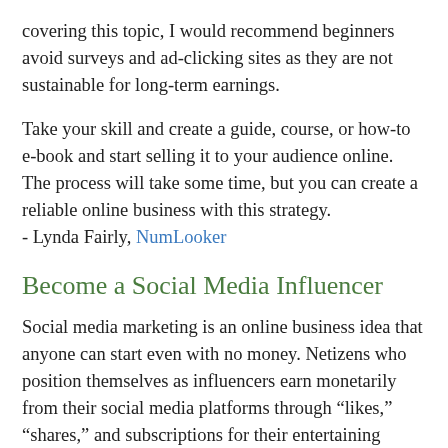covering this topic, I would recommend beginners avoid surveys and ad-clicking sites as they are not sustainable for long-term earnings.
Take your skill and create a guide, course, or how-to e-book and start selling it to your audience online. The process will take some time, but you can create a reliable online business with this strategy.
- Lynda Fairly, NumLooker
Become a Social Media Influencer
Social media marketing is an online business idea that anyone can start even with no money. Netizens who position themselves as influencers earn monetarily from their social media platforms through “likes,” “shares,” and subscriptions for their entertaining